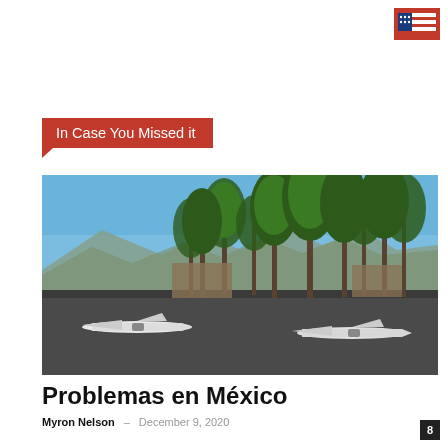[Figure (logo): Small red and blue logo in top right corner]
In Case You Missed it
[Figure (photo): Outdoor scene with small aircraft/gliders parked on tarmac, palm trees, and a mountain in background under clear blue sky. Likely a small airport in Mexico.]
Problemas en México
Myron Nelson – December 9, 2020
8